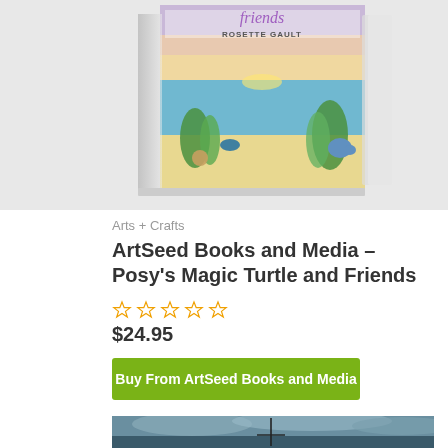[Figure (photo): Book product image of 'Posy's Magic Turtle and Friends' by Rosette Gault — a 3D book cover showing an ocean/beach scene with colorful painted sea creatures and plants, set against a sunset sky]
Arts + Crafts
ArtSeed Books and Media – Posy's Magic Turtle and Friends
★★★★★ (star rating, outlined/empty)
$24.95
Buy From ArtSeed Books and Media
[Figure (photo): Partial image of a sailboat mast against a dramatic stormy cloudy sky over water, teal/dark tones]